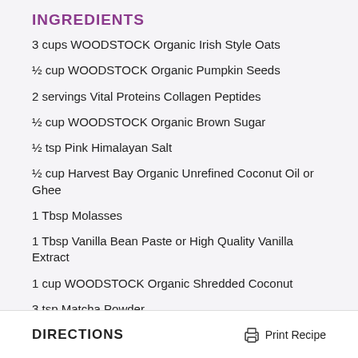INGREDIENTS
3 cups WOODSTOCK Organic Irish Style Oats
½ cup WOODSTOCK Organic Pumpkin Seeds
2 servings Vital Proteins Collagen Peptides
½ cup WOODSTOCK Organic Brown Sugar
½ tsp Pink Himalayan Salt
½ cup Harvest Bay Organic Unrefined Coconut Oil or Ghee
1 Tbsp Molasses
1 Tbsp Vanilla Bean Paste or High Quality Vanilla Extract
1 cup WOODSTOCK Organic Shredded Coconut
3 tsp Matcha Powder
DIRECTIONS
Print Recipe